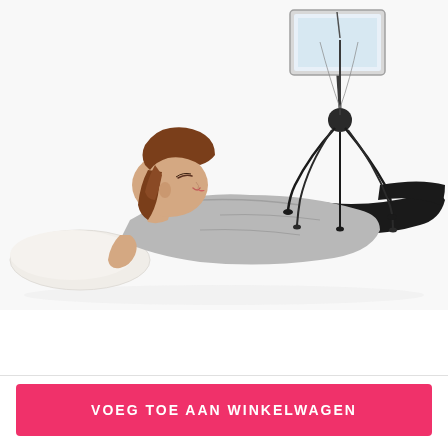[Figure (photo): A young woman lying on a white floor on her stomach, resting her head on a pillow, looking up at a tablet device held on a spider/tripod-style stand. She is wearing a gray t-shirt and dark pants. The background is white.]
VOEG TOE AAN WINKELWAGEN